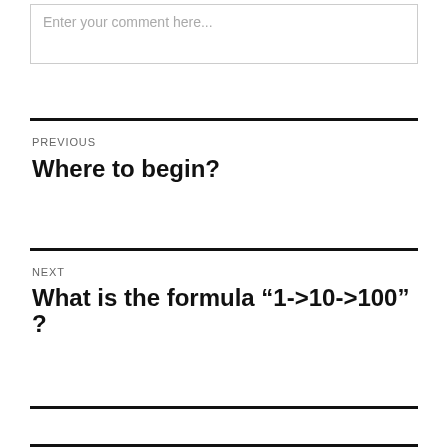Enter your comment here...
PREVIOUS
Where to begin?
NEXT
What is the formula “1->10->100” ?